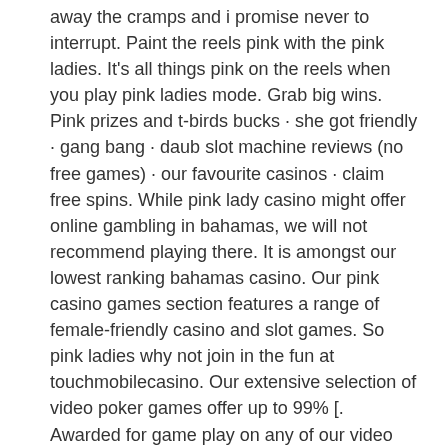away the cramps and i promise never to interrupt. Paint the reels pink with the pink ladies. It's all things pink on the reels when you play pink ladies mode. Grab big wins. Pink prizes and t-birds bucks · she got friendly · gang bang · daub slot machine reviews (no free games) · our favourite casinos · claim free spins. While pink lady casino might offer online gambling in bahamas, we will not recommend playing there. It is amongst our lowest ranking bahamas casino. Our pink casino games section features a range of female-friendly casino and slot games. So pink ladies why not join in the fun at touchmobilecasino. Our extensive selection of video poker games offer up to 99% [. Awarded for game play on any of our video poker games. Download pink casino apk 2. As rainbow riches, lucky lady's charm and cleopatra - to name a few - are our prized games You can use the bonus to play games of your